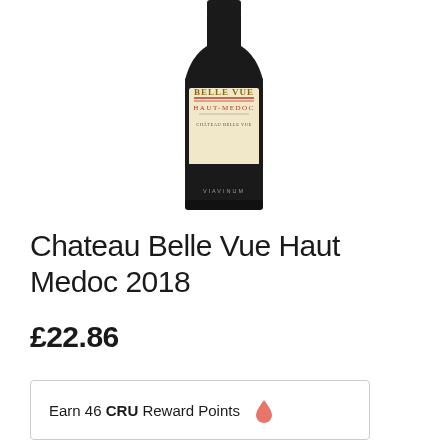[Figure (photo): Wine bottle of Chateau Belle Vue Haut-Medoc 2018, showing cream/gold label with text 'BELLE VUE', 'HAUT-MEDOC' in red, and black bottle body with 'VIAVINUM' text near base]
Chateau Belle Vue Haut Medoc 2018
£22.86
Earn 46 CRU Reward Points